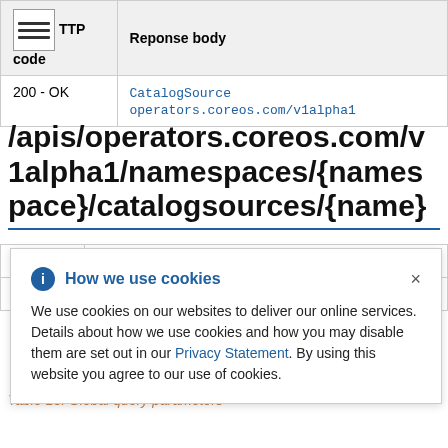| HTTP code | Reponse body |
| --- | --- |
| 200 - OK | CatalogSource operators.coreos.com/v1alpha1 |
/apis/operators.coreos.com/v1alpha1/namespaces/{namespace}/catalogsources/{name}
How we use cookies

We use cookies on our websites to deliver our online services. Details about how we use cookies and how you may disable them are set out in our Privacy Statement. By using this website you agree to our use of cookies.
Table 13. Global query parameters